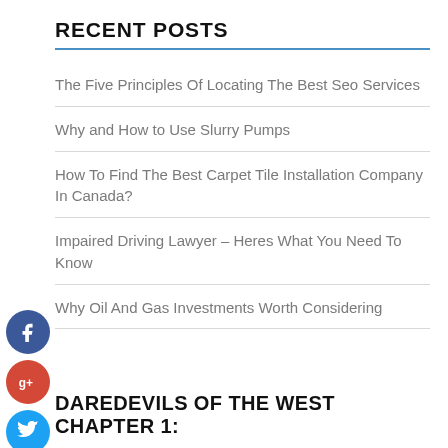RECENT POSTS
The Five Principles Of Locating The Best Seo Services
Why and How to Use Slurry Pumps
How To Find The Best Carpet Tile Installation Company In Canada?
Impaired Driving Lawyer – Heres What You Need To Know
Why Oil And Gas Investments Worth Considering
[Figure (infographic): Social sharing buttons: Facebook (blue circle with f), Google+ (red circle with g+), Twitter (light blue circle with bird), and a dark blue circle with + sign]
DAREDEVILS OF THE WEST CHAPTER 1: